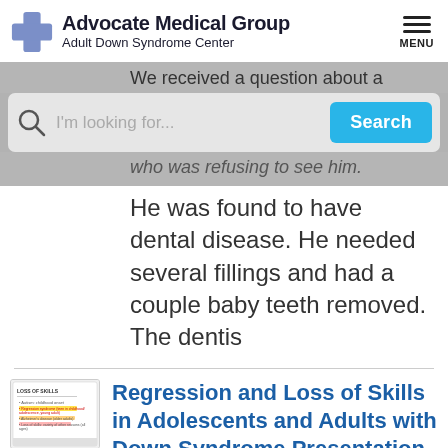Advocate Medical Group Adult Down Syndrome Center
We received a question about a
[Figure (screenshot): Search bar with magnifying glass icon, placeholder text 'I'm looking for...' and a blue 'Search' button]
who was refusing to see him. He was found to have dental disease. He needed several fillings and had a couple baby teeth removed. The dentis
[Figure (screenshot): Thumbnail image of a presentation slide titled 'Loss of Skills' with bullet points about regression syndrome and Alzheimer's disease]
Regression and Loss of Skills in Adolescents and Adults with Down Syndrome Presentation